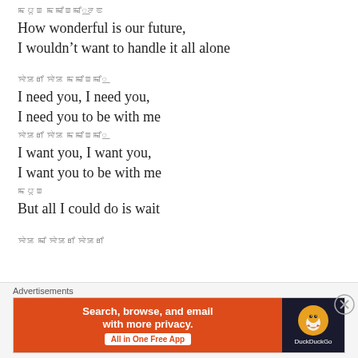ꯃꯅꯨꯡ ꯃꯃꯤꯡꯃꯤ꯭ꯂꯟ
How wonderful is our future,
I wouldn't want to handle it all alone
ꯌꯥꯎꯔꯤ ꯌꯥꯎ ꯃꯃꯤꯡꯃꯤ꯭
I need you, I need you,
I need you to be with me
ꯌꯥꯎꯔꯤ ꯌꯥꯎ ꯃꯃꯤꯡꯃꯤ꯭
I want you, I want you,
I want you to be with me
ꯃꯅꯨꯡ
But all I could do is wait
ꯌꯥꯎ ꯃꯤ ꯌꯥꯎꯔꯤ ꯌꯥꯎꯔꯤ